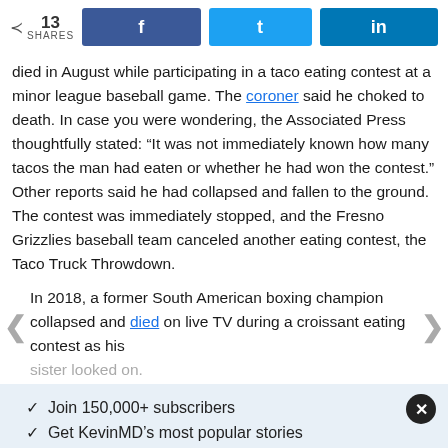13 SHARES | Share on Facebook | Share on Twitter | Share on LinkedIn
died in August while participating in a taco eating contest at a minor league baseball game. The coroner said he choked to death. In case you were wondering, the Associated Press thoughtfully stated: “It was not immediately known how many tacos the man had eaten or whether he had won the contest.” Other reports said he had collapsed and fallen to the ground. The contest was immediately stopped, and the Fresno Grizzlies baseball team canceled another eating contest, the Taco Truck Throwdown.
In 2018, a former South American boxing champion collapsed and died on live TV during a croissant eating contest as his sister looked on.
✓ Join 150,000+ subscribers
✓ Get KevinMD’s most popular stories